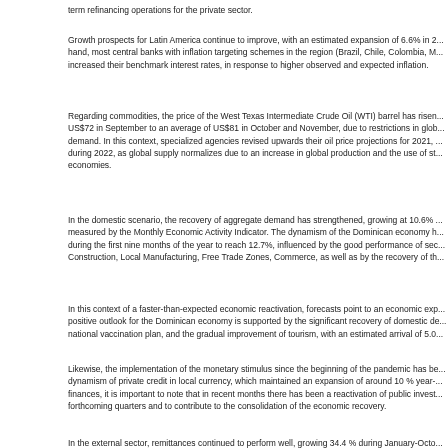term refinancing operations for the private sector.
Growth prospects for Latin America continue to improve, with an estimated expansion of 6.6% in 2... hand, most central banks with inflation targeting schemes in the region (Brazil, Chile, Colombia, M... increased their benchmark interest rates, in response to higher observed and expected inflation.
Regarding commodities, the price of the West Texas Intermediate Crude Oil (WTI) barrel has risen... US$72 in September to an average of US$81 in October and November, due to restrictions in glob... demand. In this context, specialized agencies revised upwards their oil price projections for 2021,... during 2022, as global supply normalizes due to an increase in global production and the use of st... economies.
In the domestic scenario, the recovery of aggregate demand has strengthened, growing at 10.6% ... measured by the Monthly Economic Activity Indicator. The dynamism of the Dominican economy h... during the first nine months of the year to reach 12.7%, influenced by the good performance of sec... Construction, Local Manufacturing, Free Trade Zones, Commerce, as well as by the recovery of th...
In this context of a faster-than-expected economic reactivation, forecasts point to an economic exp... positive outlook for the Dominican economy is supported by the significant recovery of domestic de... national vaccination plan, and the gradual improvement of tourism, with an estimated arrival of 5.0...
Likewise, the implementation of the monetary stimulus since the beginning of the pandemic has be... dynamism of private credit in local currency, which maintained an expansion of around 10 % year-... finances, it is important to note that in recent months there has been a reactivation of public invest... forthcoming quarters and to contribute to the consolidation of the economic recovery.
In the external sector, remittances continued to perform well, growing 34.4 % during January-Octo... billion by the end of this year, while total exports expanded 23.3 % year-on-year during January-Se... remain at historically high levels, above US$12.5 billion at the end of October, equivalent to 6.3 mo... exceeds the metrics recommended by the IMF. These factors have contributed to maintaining the r... reflected in a year-on-year appreciation of approximately 2.8 %.